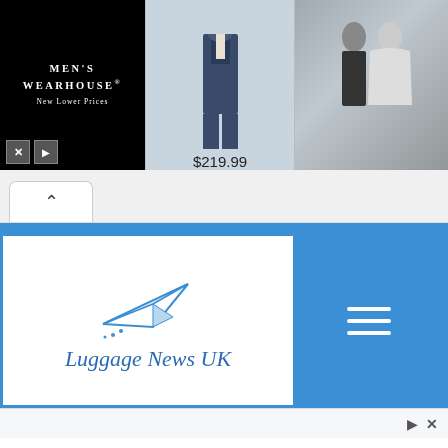[Figure (screenshot): Men's Wearhouse advertisement banner with suit image for $219.99 and wedding couple photo]
[Figure (screenshot): Browser scroll-up tab control]
[Figure (logo): Luggage News UK logo with paper plane icon and blue menu bar]
[Figure (screenshot): Advertisement bar with play and close icons]
This website uses cookies to improve your experience. We'll assume you're ok with this, but you can opt-out if you wish.
Accept   Reject   Read More